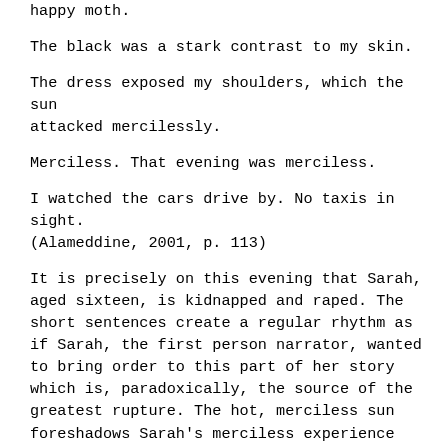happy moth.
The black was a stark contrast to my skin.
The dress exposed my shoulders, which the sun attacked mercilessly.
Merciless. That evening was merciless.
I watched the cars drive by. No taxis in sight. (Alameddine, 2001, p. 113)
It is precisely on this evening that Sarah, aged sixteen, is kidnapped and raped. The short sentences create a regular rhythm as if Sarah, the first person narrator, wanted to bring order to this part of her story which is, paradoxically, the source of the greatest rupture. The hot, merciless sun foreshadows Sarah's merciless experience which later affects all her future relationships. But at this point, she fails in her storytelling attempt; the last sentences of the chapter just discuss her dress and the sea, "The dress was French, bought from a catalogue. I loved it. I looked at the sea behind me, oblivious to the play of colors" (p. 114). Sarah finally succeeds in communicating her harsh experience in the second half of the book.